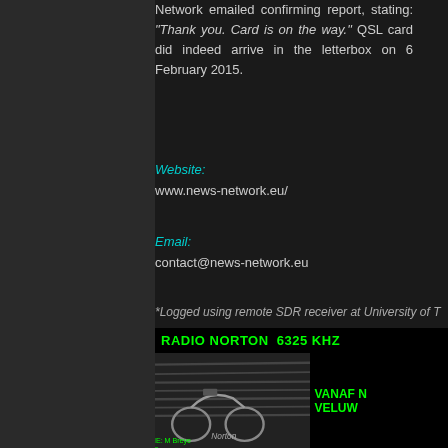Network emailed confirming report, stating: "Thank you. Card is on the way." QSL card did indeed arrive in the letterbox on 6 February 2015.
Website:
www.news-network.eu/
Email:
contact@news-network.eu
*Logged using remote SDR receiver at University of T
Posted by T.L. Breyel at 12:14 PM    No c
Thursday, November 13, 2014
Radio Norton
[Figure (photo): Radio Norton QSL card image showing RADIO NORTON 6325 KHZ text, VANAF and VELUW text, with a motorcycle image and name/date fields]